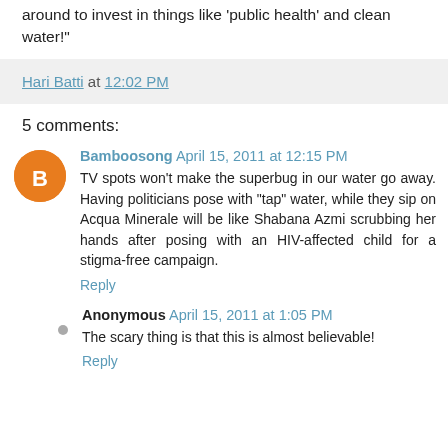around to invest in things like 'public health' and clean water!"
Hari Batti at 12:02 PM
5 comments:
Bamboosong April 15, 2011 at 12:15 PM
TV spots won't make the superbug in our water go away. Having politicians pose with "tap" water, while they sip on Acqua Minerale will be like Shabana Azmi scrubbing her hands after posing with an HIV-affected child for a stigma-free campaign.
Reply
Anonymous April 15, 2011 at 1:05 PM
The scary thing is that this is almost believable!
Reply